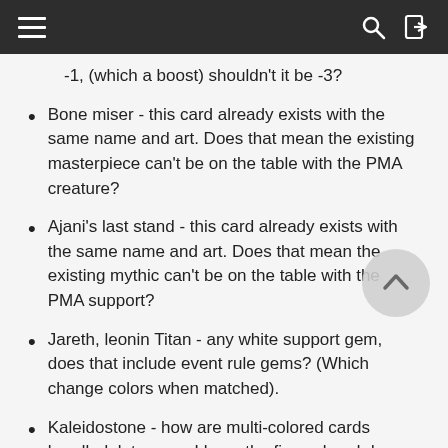≡  🔍  ⇥
-1, (which a boost) shouldn't it be -3?
Bone miser - this card already exists with the same name and art. Does that mean the existing masterpiece can't be on the table with the PMA creature?
Ajani's last stand - this card already exists with the same name and art. Does that mean the existing mythic can't be on the table with the PMA support?
Jareth, leonin Titan - any white support gem, does that include event rule gems? (Which change colors when matched).
Kaleidostone - how are multi-colored cards handled, let us say I have the five colored dragon (niv-mizzet reborn) in